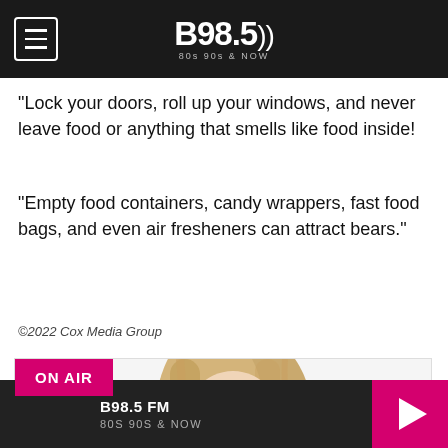B98.5 80s 90s & NOW
“Lock your doors, roll up your windows, and never leave food or anything that smells like food inside!
“Empty food containers, candy wrappers, fast food bags, and even air fresheners can attract bears.”
©2022 Cox Media Group
[Figure (photo): ON AIR section showing a blonde woman from the shoulders up, with a magenta ON AIR badge in the top-left corner]
B98.5 FM  80S 90S & NOW